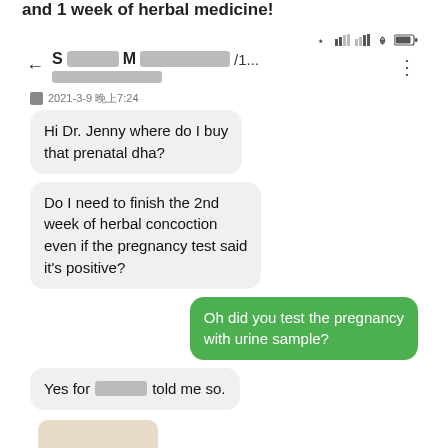and 1 week of herbal medicine!
[Figure (screenshot): Screenshot of a messaging app chat showing a conversation between a patient and Dr. Jenny about prenatal DHA, herbal concoction, and a positive pregnancy test. Includes status bar with Bluetooth, signal, WiFi, battery icons. Header shows back arrow, redacted name 'S... M.../1...' with three-dot menu. Timestamp: 2021-3-9 晚上7:24. Messages: patient asks where to buy prenatal DHA; asks if they need to finish 2nd week of herbal concoction if pregnancy test is positive; Dr. Jenny replies asking about urine sample test; patient replies 'Yes for [redacted] told me so.' with a pregnancy test image showing positive result.]